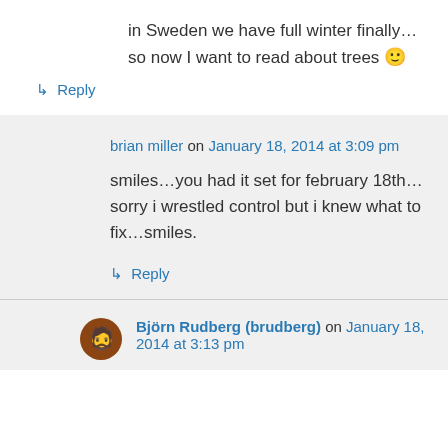in Sweden we have full winter finally… so now I want to read about trees 🙂
↳ Reply
brian miller on January 18, 2014 at 3:09 pm
smiles…you had it set for february 18th…sorry i wrestled control but i knew what to fix…smiles.
↳ Reply
Björn Rudberg (brudberg) on January 18, 2014 at 3:13 pm